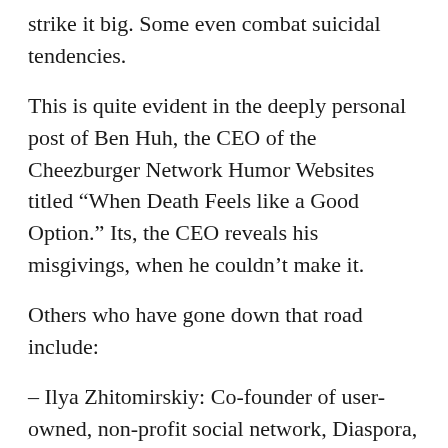strike it big. Some even combat suicidal tendencies.
This is quite evident in the deeply personal post of Ben Huh, the CEO of the Cheezburger Network Humor Websites titled “When Death Feels like a Good Option.” Its, the CEO reveals his misgivings, when he couldn’t make it.
Others who have gone down that road include:
– Ilya Zhitomirskiy: Co-founder of user-owned, non-profit social network, Diaspora, he was just 22 when he called it quits.
– Dan Haubert, the co-founder of TicketStumbler, also YC Alum was only 25 when he committed suicide.
– Aaron Swartz, the developer of RSS and